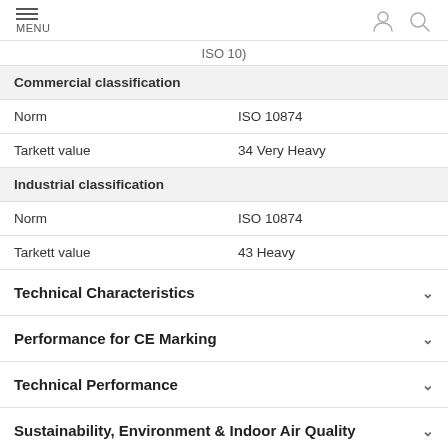MENU
ISO 10)
| Commercial classification |  |
| Norm | ISO 10874 |
| Tarkett value | 34 Very Heavy |
| Industrial classification |  |
| Norm | ISO 10874 |
| Tarkett value | 43 Heavy |
Technical Characteristics
Performance for CE Marking
Technical Performance
Sustainability, Environment & Indoor Air Quality